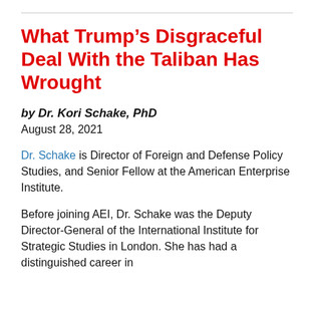What Trump’s Disgraceful Deal With the Taliban Has Wrought
by Dr. Kori Schake, PhD
August 28, 2021
Dr. Schake is Director of Foreign and Defense Policy Studies, and Senior Fellow at the American Enterprise Institute.
Before joining AEI, Dr. Schake was the Deputy Director-General of the International Institute for Strategic Studies in London. She has had a distinguished career in